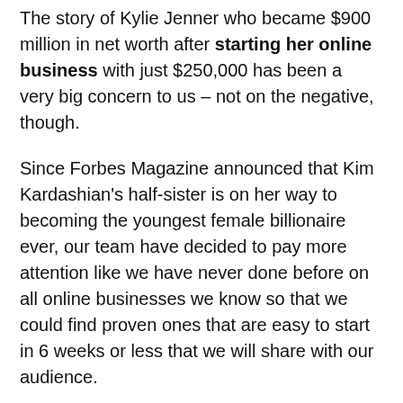The story of Kylie Jenner who became $900 million in net worth after starting her online business with just $250,000 has been a very big concern to us – not on the negative, though.
Since Forbes Magazine announced that Kim Kardashian's half-sister is on her way to becoming the youngest female billionaire ever, our team have decided to pay more attention like we have never done before on all online businesses we know so that we could find proven ones that are easy to start in 6 weeks or less that we will share with our audience.
Of course, if you've known this business blog for quite some time, you would have known that we are NOT new to running successful online businesses.